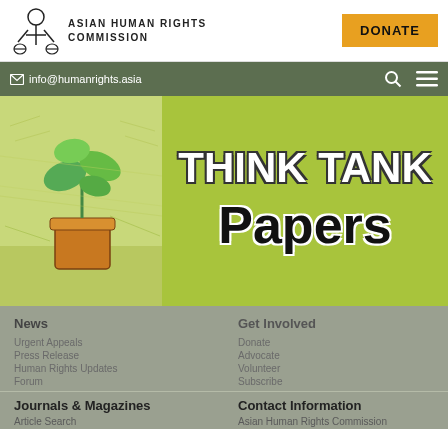Asian Human Rights Commission
info@humanrights.asia
[Figure (screenshot): Asian Human Rights Commission website screenshot showing Think Tank Papers banner with illustrated artwork on the left and green background with bold text on the right]
News
Get Involved
Journals & Magazines
Contact Information
Asian Human Rights Commission